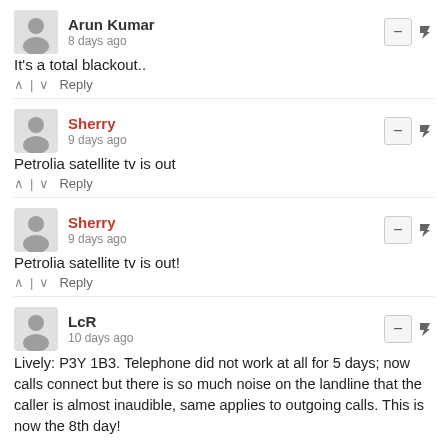Arun Kumar
8 days ago
It's a total blackout..
^ | v  Reply
Sherry
9 days ago
Petrolia satellite tv is out
^ | v  Reply
Sherry
9 days ago
Petrolia satellite tv is out!
^ | v  Reply
LcR
10 days ago
Lively: P3Y 1B3. Telephone did not work at all for 5 days; now calls connect but there is so much noise on the landline that the caller is almost inaudible, same applies to outgoing calls. This is now the 8th day!